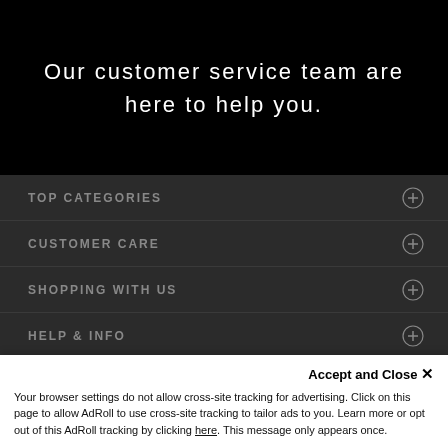Our customer service team are here to help you.
TOP CATEGORIES
CUSTOMER CARE
SHOPPING WITH US
HELP & INFO
MORE FROM LH
LH REWARDS
Accept and Close ×
Your browser settings do not allow cross-site tracking for advertising. Click on this page to allow AdRoll to use cross-site tracking to tailor ads to you. Learn more or opt out of this AdRoll tracking by clicking here. This message only appears once.